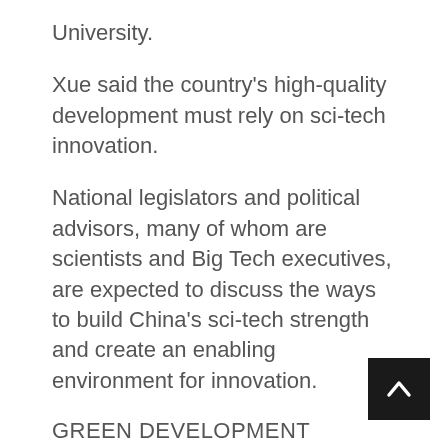University.
Xue said the country's high-quality development must rely on sci-tech innovation.
National legislators and political advisors, many of whom are scientists and Big Tech executives, are expected to discuss the ways to build China's sci-tech strength and create an enabling environment for innovation.
GREEN DEVELOPMENT
A complete economic and societal shift to cleaner energy and fewer polluting emissions conforms to the people's expectations for high-quality development.